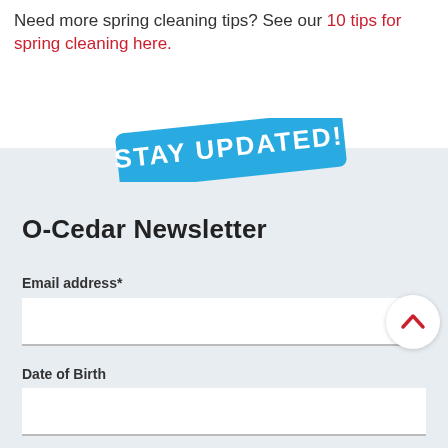Need more spring cleaning tips? See our 10 tips for spring cleaning here.
[Figure (other): Blue rotated badge with white text reading STAY UPDATED!]
O-Cedar Newsletter
Email address*
Date of Birth